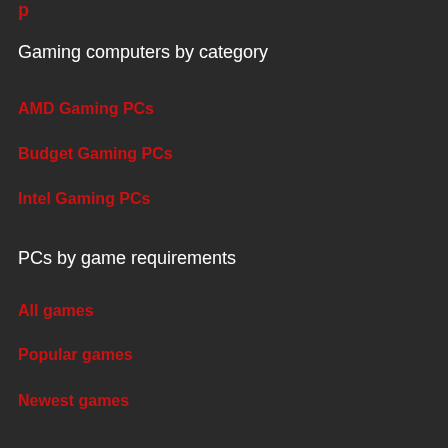Gaming computers by category
AMD Gaming PCs
Budget Gaming PCs
Intel Gaming PCs
PCs by game requirements
All games
Popular games
Newest games
Gaming PC 101
Privacy Policy
Contact